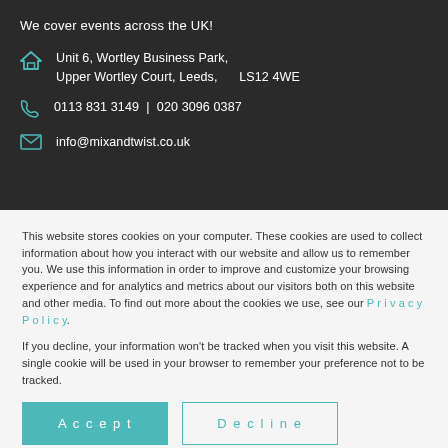We cover events across the UK!
Unit 6, Wortley Business Park, Upper Wortley Court, Leeds,    LS12 4WE
0113 831 3149 | 020 3096 0387
info@mixandtwist.co.uk
This website stores cookies on your computer. These cookies are used to collect information about how you interact with our website and allow us to remember you. We use this information in order to improve and customize your browsing experience and for analytics and metrics about our visitors both on this website and other media. To find out more about the cookies we use, see our Privacy Policy.
If you decline, your information won't be tracked when you visit this website. A single cookie will be used in your browser to remember your preference not to be tracked.
Accept
Decline